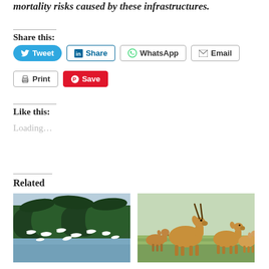mortality risks caused by these infrastructures.
Share this:
[Figure (screenshot): Social share buttons: Tweet (Twitter, blue rounded), Share (LinkedIn, blue border), WhatsApp (white border), Email (white border), Print (white border), Save (Pinterest, red)]
Like this:
Loading...
Related
[Figure (photo): Flock of white birds (egrets or herons) taking flight over water with dense tropical palm trees in the background]
[Figure (photo): Group of saiga antelopes standing in a grassy open field, with one large horned male prominently in the center]